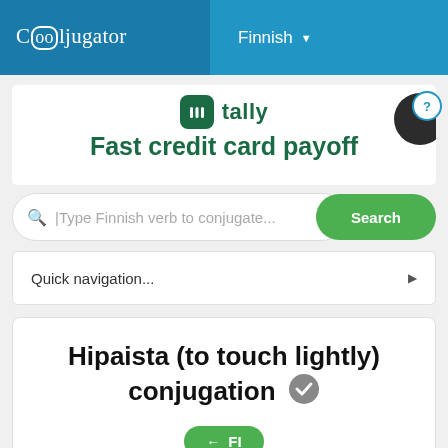Cooljugator | Finnish
[Figure (screenshot): Tally app advertisement banner with logo and tagline 'Fast credit card payoff']
Type Finnish verb to conjugate...
Search
Quick navigation...
Hipaista (to touch lightly) conjugation